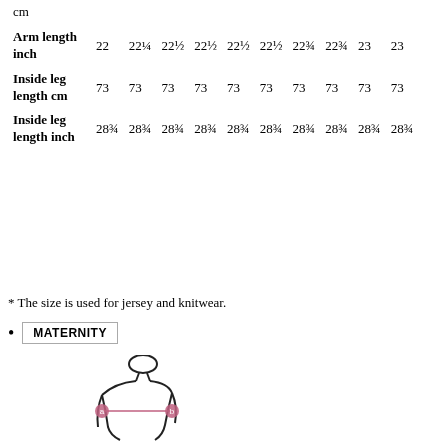|  | col1 | col2 | col3 | col4 | col5 | col6 | col7 | col8 | col9 | col10 |
| --- | --- | --- | --- | --- | --- | --- | --- | --- | --- | --- |
| cm |  |  |  |  |  |  |  |  |  |  |
| Arm length inch | 22 | 22¼ | 22½ | 22½ | 22½ | 22½ | 22¾ | 22¾ | 23 | 23 |
| Inside leg length cm | 73 | 73 | 73 | 73 | 73 | 73 | 73 | 73 | 73 | 73 |
| Inside leg length inch | 28¾ | 28¾ | 28¾ | 28¾ | 28¾ | 28¾ | 28¾ | 28¾ | 28¾ | 28¾ |
* The size is used for jersey and knitwear.
MATERNITY
[Figure (illustration): Line drawing of a female figure with measurement points labeled a and b shown with a horizontal line across the bust area]